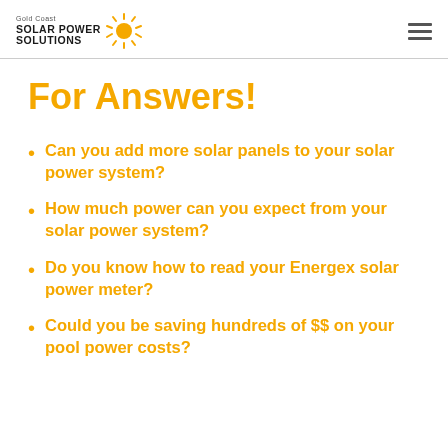Gold Coast Solar Power Solutions
For Answers!
Can you add more solar panels to your solar power system?
How much power can you expect from your solar power system?
Do you know how to read your Energex solar power meter?
Could you be saving hundreds of $$ on your pool power costs?